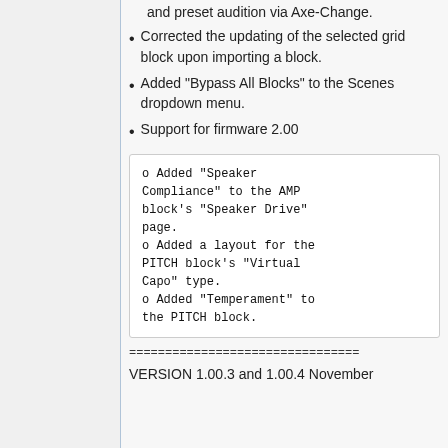and preset audition via Axe-Change.
Corrected the updating of the selected grid block upon importing a block.
Added "Bypass All Blocks" to the Scenes dropdown menu.
Support for firmware 2.00
o Added "Speaker Compliance" to the AMP block's "Speaker Drive" page.
o Added a layout for the PITCH block's "Virtual Capo" type.
o Added "Temperament" to the PITCH block.
================================
VERSION 1.00.3 and 1.00.4 November